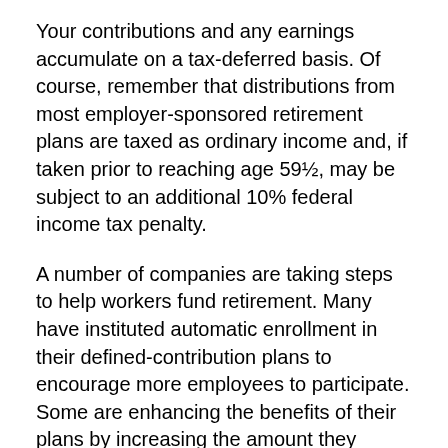Your contributions and any earnings accumulate on a tax-deferred basis. Of course, remember that distributions from most employer-sponsored retirement plans are taxed as ordinary income and, if taken prior to reaching age 59½, may be subject to an additional 10% federal income tax penalty.
A number of companies are taking steps to help workers fund retirement. Many have instituted automatic enrollment in their defined-contribution plans to encourage more employees to participate. Some are enhancing the benefits of their plans by increasing the amount they contribute to employee accounts and/or enhancing matching contributions.
Many companies that still have traditional pension plans should be able to pay their promised benefits. But in light of recent trends, it would be wise to consider all possible sources of retirement income when reviewing your retirement strategy. With the changing retirement landscape, there may be no better time than now to size